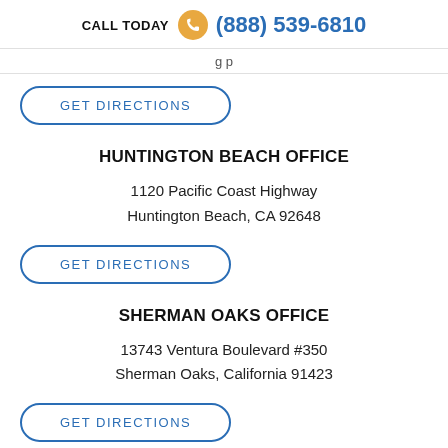CALL TODAY (888) 539-6810
...g p
GET DIRECTIONS
HUNTINGTON BEACH OFFICE
1120 Pacific Coast Highway
Huntington Beach, CA 92648
GET DIRECTIONS
SHERMAN OAKS OFFICE
13743 Ventura Boulevard #350
Sherman Oaks, California 91423
GET DIRECTIONS